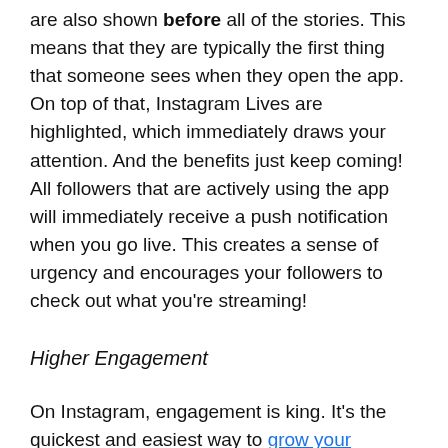are also shown before all of the stories. This means that they are typically the first thing that someone sees when they open the app. On top of that, Instagram Lives are highlighted, which immediately draws your attention. And the benefits just keep coming! All followers that are actively using the app will immediately receive a push notification when you go live. This creates a sense of urgency and encourages your followers to check out what you're streaming!
Higher Engagement
On Instagram, engagement is king. It's the quickest and easiest way to grow your audience and get more followers. Instagram Live is a great way to get more engagement and, in turn, grow your brand!
You can have a two-way conversation in real-time